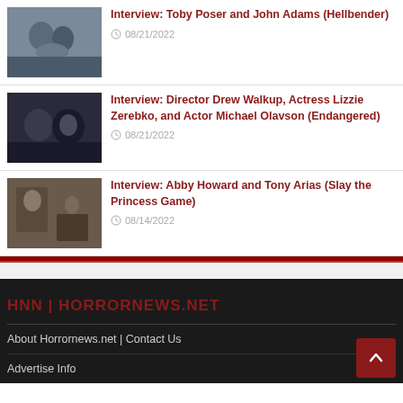Interview: Toby Poser and John Adams (Hellbender) — 08/21/2022
Interview: Director Drew Walkup, Actress Lizzie Zerebko, and Actor Michael Olavson (Endangered) — 08/21/2022
Interview: Abby Howard and Tony Arias (Slay the Princess Game) — 08/14/2022
HNN | HORRORNEWS.NET
About Horrornews.net | Contact Us
Advertise Info